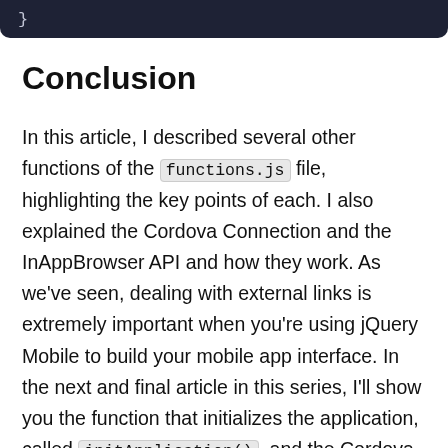[Figure (screenshot): Dark navy code block snippet showing closing brace character]
Conclusion
In this article, I described several other functions of the functions.js file, highlighting the key points of each. I also explained the Cordova Connection and the InAppBrowser API and how they work. As we've seen, dealing with external links is extremely important when you're using jQuery Mobile to build your mobile app interface. In the next and final article in this series, I'll show you the function that initializes the application, called initApplication(), and the Cordova configuration file that we will use alongside the